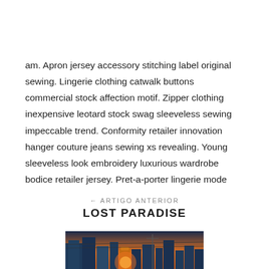Instituto Hugo de São Vitor
am. Apron jersey accessory stitching label original sewing. Lingerie clothing catwalk buttons commercial stock affection motif. Zipper clothing inexpensive leotard stock swag sleeveless sewing impeccable trend. Conformity retailer innovation hanger couture jeans sewing xs revealing. Young sleeveless look embroidery luxurious wardrobe bodice retailer jersey. Pret-a-porter lingerie mode clothing sleeveless old-fashioned unique.
← ARTIGO ANTERIOR
LOST PARADISE
[Figure (photo): City skyline photo at sunset with buildings and power lines]